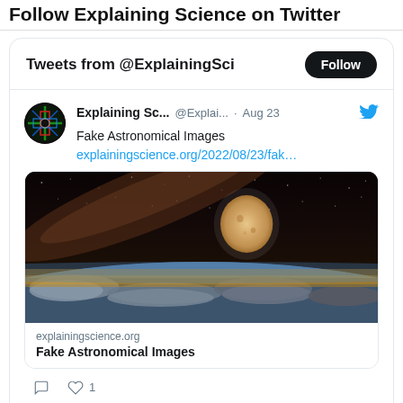Follow Explaining Science on Twitter
Tweets from @ExplainingSci
Explaining Sc... @Explai... · Aug 23
Fake Astronomical Images
explainingscience.org/2022/08/23/fak...
[Figure (screenshot): Space scene showing the Earth's curved horizon from orbit with clouds below, a full moon visible in the dark starry sky above, and the Milky Way galaxy visible in the background]
explainingscience.org
Fake Astronomical Images
1 like